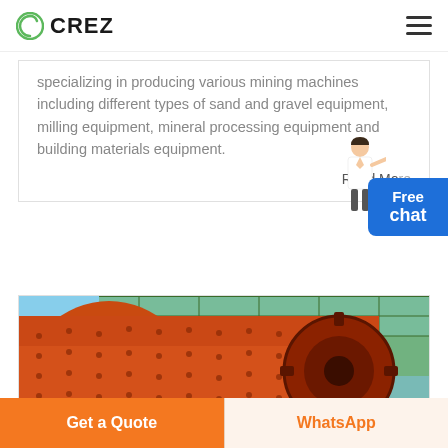CREZ
specializing in producing various mining machines including different types of sand and gravel equipment, milling equipment, mineral processing equipment and building materials equipment.
Read Mo...
[Figure (photo): Large orange cylindrical ball mill machine in an industrial factory setting with green scaffolding in the background]
Get a Quote
WhatsApp